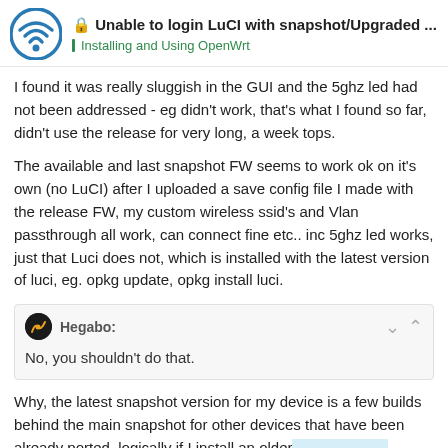Unable to login LuCI with snapshot/Upgraded ... | Installing and Using OpenWrt
I found it was really sluggish in the GUI and the 5ghz led had not been addressed - eg didn't work, that's what I found so far, didn't use the release for very long, a week tops.
The available and last snapshot FW seems to work ok on it's own (no LuCI) after I uploaded a save config file I made with the release FW, my custom wireless ssid's and Vlan passthrough all work, can connect fine etc.. inc 5ghz led works, just that Luci does not, which is installed with the latest version of luci, eg. opkg update, opkg install luci.
Hegabo:
No, you shouldn't do that.
Why, the latest snapshot version for my device is a few builds behind the main snapshot for other devices that have been already ported, logically if I install an older maybe likely to have/find a prior luci versio
17 / 25